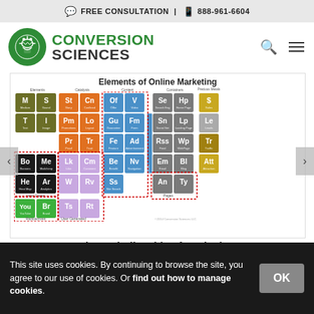FREE CONSULTATION | 888-961-6604
[Figure (logo): Conversion Sciences logo with green circular brain icon and text CONVERSION SCIENCES]
[Figure (infographic): Elements of Online Marketing - periodic table style infographic showing marketing elements grouped as Elements (M,S,T,I), Catalysts (St,Cn,Pm,Lo,Pr,Tr), Content (Of,V,Gu,Fm,Fe,Ad,Be,Nv,Ss), Containers (Se,Hp,Sn,Lp,Rss,Wp,Em,Bl,An,Ty), Precious Metals ($,Le,Tr,Att), Inert Gases (Bo,Me,He,Ar), Radioactives (You,Br), User Generated (Lk,Cm,W,Rv,Ts,Rt)]
The periodic table of marketing
This site uses cookies. By continuing to browse the site, you agree to our use of cookies. Or find out how to manage cookies.